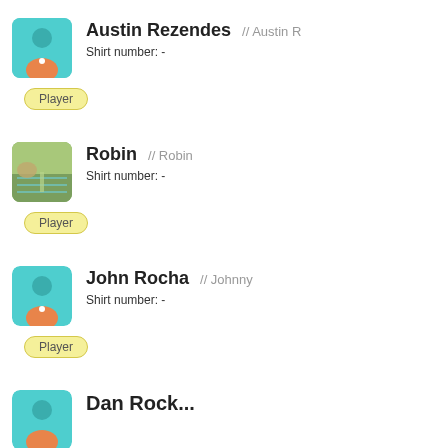Austin Rezendes // Austin R — Shirt number: - — Player
Robin // Robin — Shirt number: - — Player
John Rocha // Johnny — Shirt number: - — Player
Dan Rock... (partially visible)